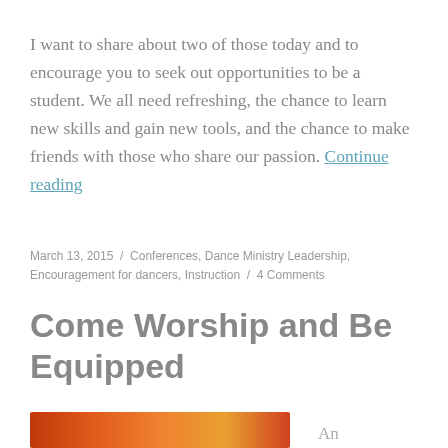I want to share about two of those today and to encourage you to seek out opportunities to be a student. We all need refreshing, the chance to learn new skills and gain new tools, and the chance to make friends with those who share our passion. Continue reading
March 13, 2015 / Conferences, Dance Ministry Leadership, Encouragement for dancers, Instruction / 4 Comments
Come Worship and Be Equipped
[Figure (photo): Partial view of an orange/red gradient image strip at the bottom of the page, with text 'An' to the right]